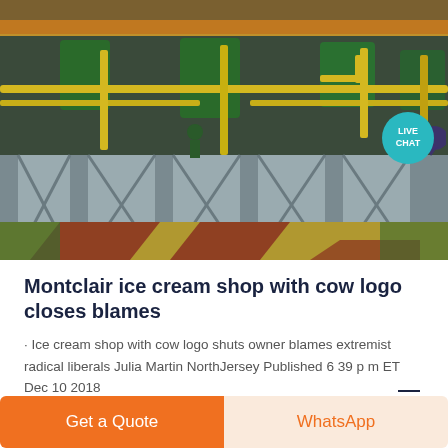[Figure (photo): Industrial factory floor with green machinery, yellow pipes and railings, grey structural supports, and colorful painted floor markings (yellow, red, green). A 'LIVE CHAT' badge with speech bubble icon is overlaid in the top-right area.]
Montclair ice cream shop with cow logo closes blames
· Ice cream shop with cow logo shuts owner blames extremist radical liberals Julia Martin NorthJersey Published 6 39 p m ET Dec 10 2018
Get a Quote | WhatsApp